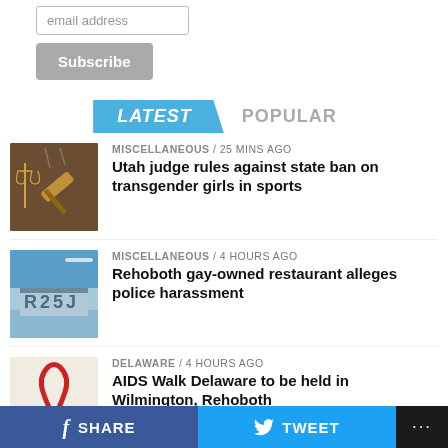email address
Subscribe
LATEST   POPULAR
MISCELLANEOUS / 25 mins ago — Utah judge rules against state ban on transgender girls in sports
MISCELLANEOUS / 4 hours ago — Rehoboth gay-owned restaurant alleges police harassment
DELAWARE / 4 hours ago — AIDS Walk Delaware to be held in Wilmington, Rehoboth
SHARE   TWEET   ...